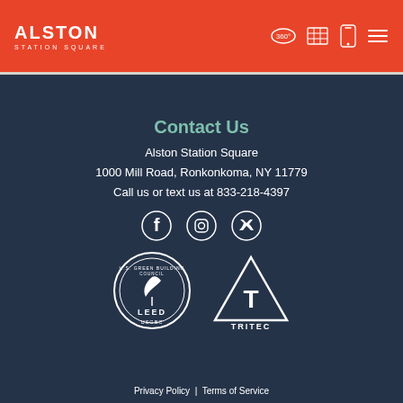ALSTON STATION SQUARE
Contact Us
Alston Station Square
1000 Mill Road, Ronkonkoma, NY 11779
Call us or text us at 833-218-4397
[Figure (logo): Social media icons: Facebook, Instagram, Twitter]
[Figure (logo): U.S. Green Building Council LEED USGBC badge and TRITEC logo]
Privacy Policy  |  Terms of Service